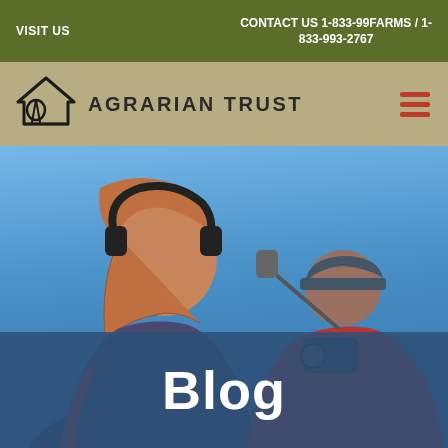VISIT US
CONTACT US 1-833-99FARMS / 1-833-993-2767
[Figure (logo): Agrarian Trust logo: a hand-drawn house/barn icon outline in black, with the text AGRARIAN TRUST in bold dark letters next to it, on a tan/khaki background. A hamburger menu icon in red/rust color appears on the right.]
[Figure (photo): Outdoor photo of people filming/recording. A woman with blonde hair and large black headphones is in the foreground (left-center), viewed from behind/side. Another person with a camera and boom microphone is visible in the background right. Clear blue sky fills most of the background. A dark blue semi-transparent banner overlays the lower portion with the word Blog in large white bold text.]
Blog